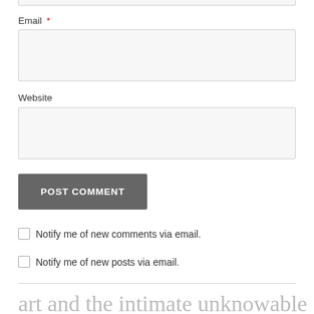Email *
Website
POST COMMENT
Notify me of new comments via email.
Notify me of new posts via email.
art and the intimate unknowable